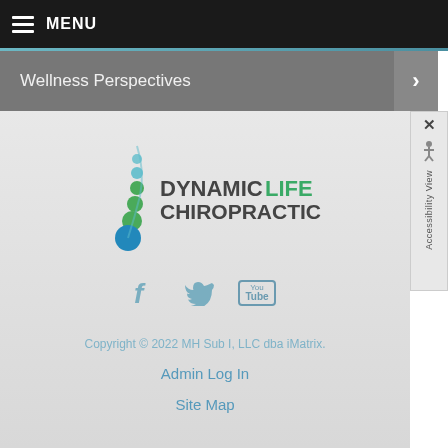MENU
Wellness Perspectives
[Figure (logo): Dynamic Life Chiropractic logo with spine graphic and teal/green dots]
[Figure (infographic): Social media icons: Facebook, Twitter, YouTube]
Copyright © 2022 MH Sub I, LLC dba iMatrix.
Admin Log In
Site Map